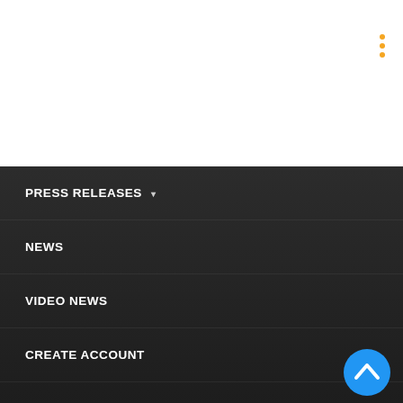[Figure (other): Orange dots menu icon in top-right corner of white header area]
PRESS RELEASES ▾
NEWS
VIDEO NEWS
CREATE ACCOUNT
Free Online PR Services Offered for Businesses That Support “Mission of Hope”